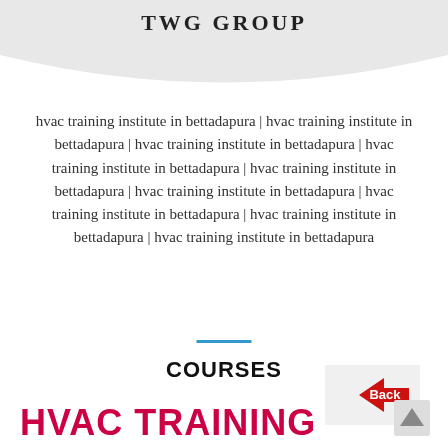TWG GROUP
hvac training institute in bettadapura | hvac training institute in bettadapura | hvac training institute in bettadapura | hvac training institute in bettadapura | hvac training institute in bettadapura | hvac training institute in bettadapura | hvac training institute in bettadapura | hvac training institute in bettadapura | hvac training institute in bettadapura
COURSES
[Figure (illustration): Red back arrow button with 'Back' text label on light grey background]
HVAC TRAINING